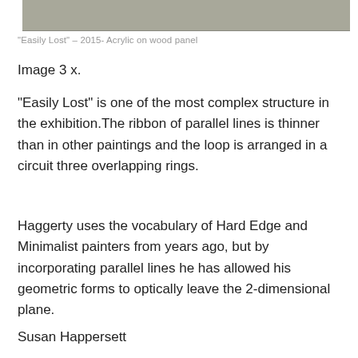[Figure (photo): Partial view of an artwork — a gray rectangular area representing the bottom edge of a painting or panel, shown cropped at the top of the page.]
“Easily Lost” – 2015- Acrylic on wood panel
Image 3 x.
“Easily Lost” is one of the most complex structure in the exhibition.The ribbon of parallel lines is thinner than in other paintings and the loop is arranged in a circuit three overlapping rings.
Haggerty uses the vocabulary of Hard Edge and Minimalist painters from years ago, but by incorporating parallel lines he has allowed his geometric forms to optically leave the 2-dimensional plane.
Susan Happersett